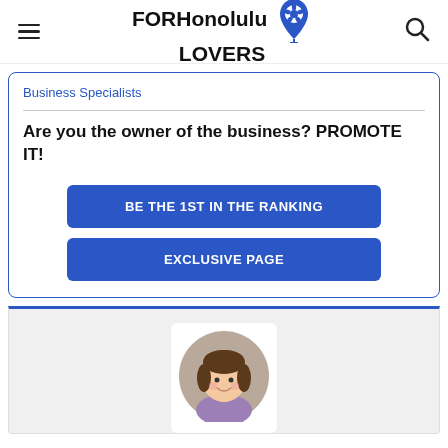FOR Honolulu LOVERS
Business Specialists
Are you the owner of the business? PROMOTE IT!
BE THE 1ST IN THE RANKING
EXCLUSIVE PAGE
[Figure (illustration): Cartoon female avatar with brown hair, smiling, wearing a purple top, shown inside a circular frame with a beige/taupe background]